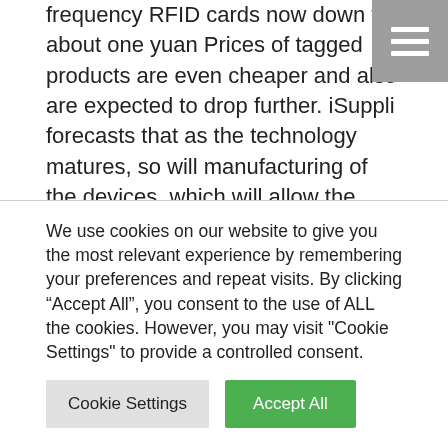frequency RFID cards now down to about one yuan Prices of tagged products are even cheaper and also are expected to drop further. iSuppli forecasts that as the technology matures, so will manufacturing of the devices, which will allow the devices to reach economies of scale.
Red Tags
In 2010, the dramatic decrease of second-generation RFID shipments resulted in a sharp decline in tag sales, with the sales of readers surpassing those of tags to date. Thanks to the Shanghai Expo and Guangzhou Asian Games, however, the two projects have managed to account for
We use cookies on our website to give you the most relevant experience by remembering your preferences and repeat visits. By clicking “Accept All”, you consent to the use of ALL the cookies. However, you may visit "Cookie Settings" to provide a controlled consent.